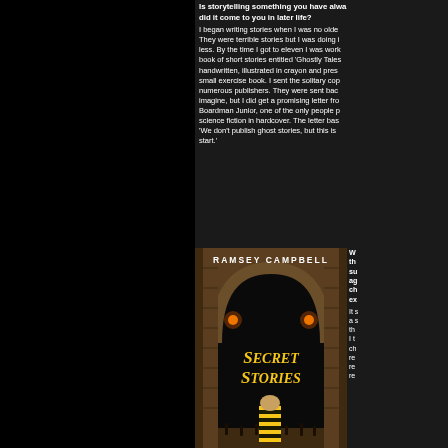Is storytelling something you have always done or did it come to you in later life? I began writing stories when I was no older... They were terrible stories but I was doing it none the less. By the time I got to eleven I was working on a book of short stories entitled 'Ghostly Tales' – handwritten, illustrated in crayon and pressed into a small exercise book. I sent the solitary copy to numerous publishers. They were sent back, as you can imagine, but I did get a promising letter from T. V. Boardman Junior, one of the only people publishing science fiction in hardcover. The letter basically said 'We don't publish ghost stories, but this is a promising start.'
[Figure (photo): Book cover of 'Secret Stories' by Ramsey Campbell, showing a dark stone archway tunnel with a figure in striped clothing and glowing lights]
What are the themes that surface again and again throughout your experiences? It seems... a shared... the... I t... ch... re... re... re...